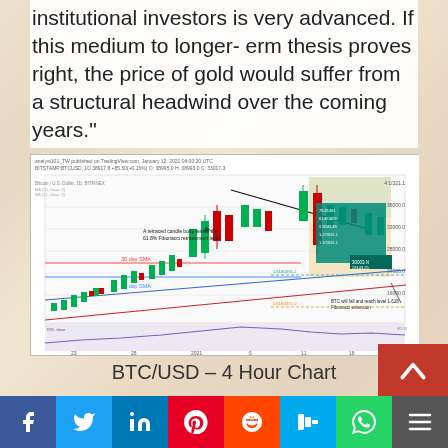institutional investors is very advanced. If this medium to longer-term thesis proves right, the price of gold would suffer from a structural headwind over the coming years."
[Figure (screenshot): BTC/USD candlestick chart on TradingView showing Bitcoin price action with Fibonacci retracement levels, 30-day SMA, 21-day SMA, and annotations about price reaching 1.618 Fibonacci extension. Published January 12, 2021.]
BTC/USD – 4 Hour Chart
f  t  in  P  reddit  m  WhatsApp  +